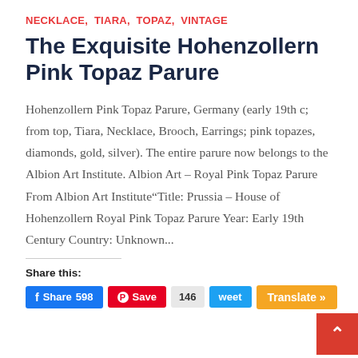NECKLACE, TIARA, TOPAZ, VINTAGE
The Exquisite Hohenzollern Pink Topaz Parure
Hohenzollern Pink Topaz Parure, Germany (early 19th c; from top, Tiara, Necklace, Brooch, Earrings; pink topazes, diamonds, gold, silver). The entire parure now belongs to the Albion Art Institute. Albion Art – Royal Pink Topaz Parure From Albion Art Institute"Title: Prussia – House of Hohenzollern Royal Pink Topaz Parure Year: Early 19th Century Country: Unknown...
Share this:
Share 598  Save  146  weet  Translate »